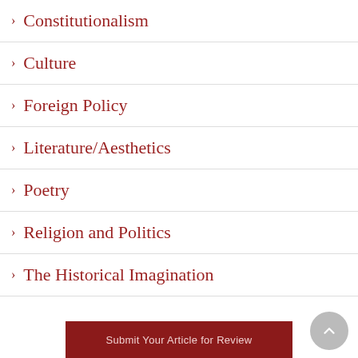Constitutionalism
Culture
Foreign Policy
Literature/Aesthetics
Poetry
Religion and Politics
The Historical Imagination
Submit Your Article for Review